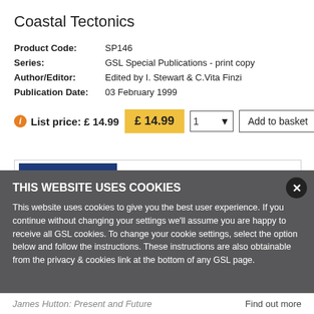Coastal Tectonics
| Product Code: | SP146 |
| Series: | GSL Special Publications - print copy |
| Author/Editor: | Edited by I. Stewart & C.Vita Finzi |
| Publication Date: | 03 February 1999 |
List price: £ 14.99
£ 14.99
[Figure (illustration): Book cover of Coastal Tectonics showing blue top section with title text, yellow middle band, and colorful geological map at bottom]
THIS WEBSITE USES COOKIES
This website uses cookies to give you the best user experience. If you continue without changing your settings we'll assume you are happy to receive all GSL cookies. To change your cookie settings, select the option below and follow the instructions. These instructions are also obtainable from the privacy & cookies link at the bottom of any GSL page.
James Hutton: Present and Future
Find out more